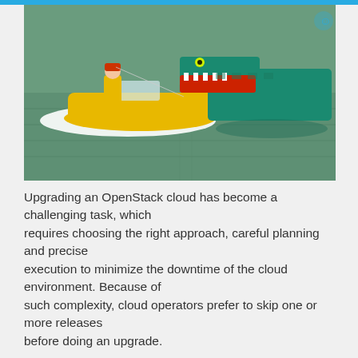[Figure (photo): A yellow motorboat on water with a LEGO crocodile sculpture emerging from the water on the right side. A person in a yellow jacket is visible on the boat.]
Upgrading an OpenStack cloud has become a challenging task, which requires choosing the right approach, careful planning and precise execution to minimize the downtime of the cloud environment. Because of such complexity, cloud operators prefer to skip one or more releases before doing an upgrade.
In this OpenStack tutorial, we discuss different aspects of OpenStack upgrades, identify the major pitfalls when upgrading OpenStack and provide solutions and best practices to avoid these pitfalls.